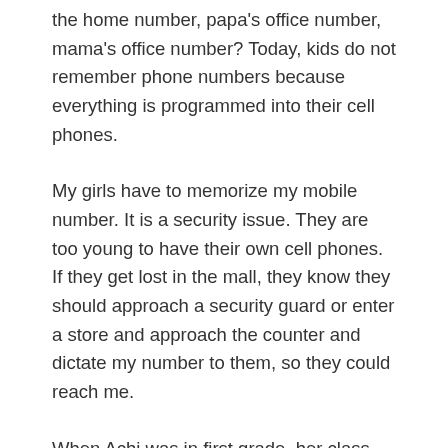the home number, papa's office number, mama's office number? Today, kids do not remember phone numbers because everything is programmed into their cell phones.
My girls have to memorize my mobile number. It is a security issue. They are too young to have their own cell phones. If they get lost in the mall, they know they should approach a security guard or enter a store and approach the counter and dictate my number to them, so they could reach me.
When Achi was in first grade, her class decided that they wanted to do “Telephone” as the topic for their investigatory project. Their final output was a small